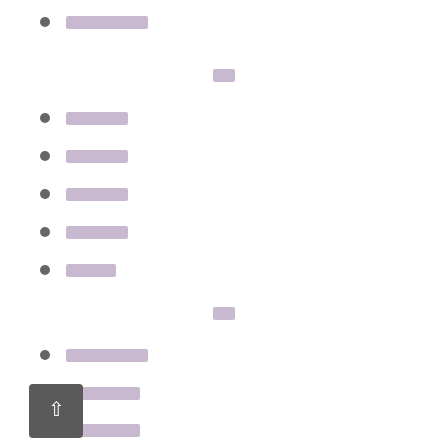██████████
██
███████
███████
███████
███████
██████
██
██████████
█████████
█████████
█
███████████
██████████